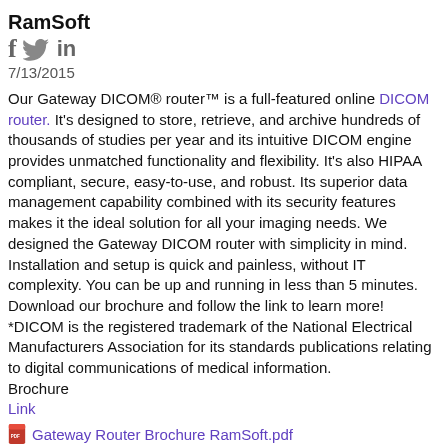RamSoft
[Figure (illustration): Social media icons: Facebook (f), Twitter (bird), LinkedIn (in) in gray]
7/13/2015
Our Gateway DICOM® router™ is a full-featured online DICOM router. It's designed to store, retrieve, and archive hundreds of thousands of studies per year and its intuitive DICOM engine provides unmatched functionality and flexibility. It's also HIPAA compliant, secure, easy-to-use, and robust. Its superior data management capability combined with its security features makes it the ideal solution for all your imaging needs. We designed the Gateway DICOM router with simplicity in mind. Installation and setup is quick and painless, without IT complexity. You can be up and running in less than 5 minutes. Download our brochure and follow the link to learn more!
*DICOM is the registered trademark of the National Electrical Manufacturers Association for its standards publications relating to digital communications of medical information.
Brochure
Link
[Figure (other): PDF icon with link: Gateway Router Brochure RamSoft.pdf]